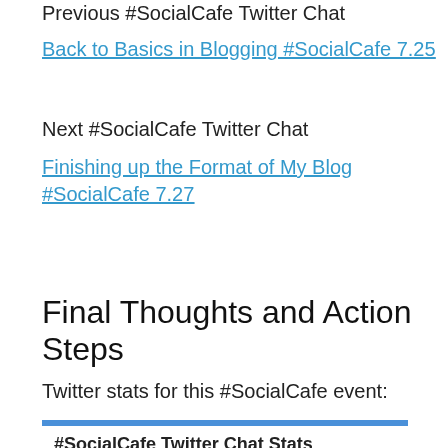Previous #SocialCafe Twitter Chat
Back to Basics in Blogging #SocialCafe 7.25
Next #SocialCafe Twitter Chat
Finishing up the Format of My Blog #SocialCafe 7.27
Final Thoughts and Action Steps
Twitter stats for this #SocialCafe event:
[Figure (infographic): #SocialCafe Twitter Chat Stats 06/26/2018 with blue top border, showing tweets generated stat beginning to appear at bottom of page]